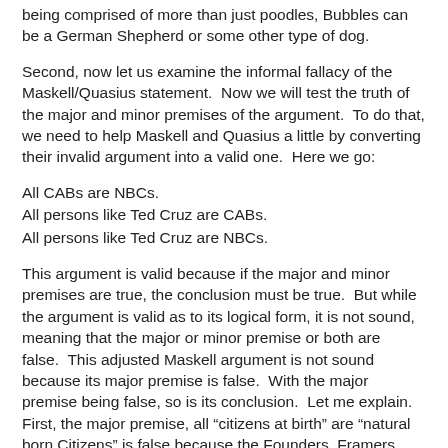We know that this argument is not valid because, with dogs being comprised of more than just poodles, Bubbles can be a German Shepherd or some other type of dog.
Second, now let us examine the informal fallacy of the Maskell/Quasius statement.  Now we will test the truth of the major and minor premises of the argument.  To do that, we need to help Maskell and Quasius a little by converting their invalid argument into a valid one.  Here we go:
All CABs are NBCs.
All persons like Ted Cruz are CABs.
All persons like Ted Cruz are NBCs.
This argument is valid because if the major and minor premises are true, the conclusion must be true.  But while the argument is valid as to its logical form, it is not sound, meaning that the major or minor premise or both are false.  This adjusted Maskell argument is not sound because its major premise is false.  With the major premise being false, so is its conclusion.  Let me explain.  First, the major premise, all “citizens at birth” are “natural born Citizens” is false because the Founders, Framers, and Ratifiers of the